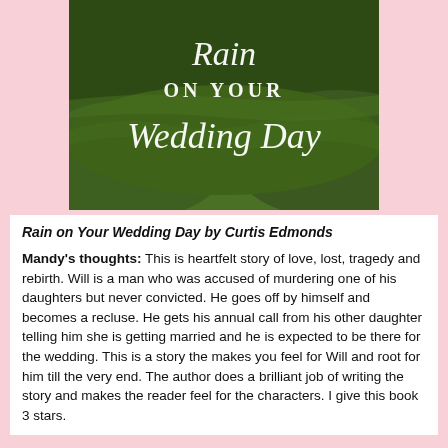[Figure (illustration): Book cover for 'Rain on Your Wedding Day' showing green grassy hills with white script and serif text reading 'Rain ON YOUR Wedding Day']
Rain on Your Wedding Day by Curtis Edmonds
Mandy's thoughts: This is heartfelt story of love, lost, tragedy and rebirth. Will is a man who was accused of murdering one of his daughters but never convicted. He goes off by himself and becomes a recluse. He gets his annual call from his other daughter telling him she is getting married and he is expected to be there for the wedding. This is a story the makes you feel for Will and root for him till the very end. The author does a brilliant job of writing the story and makes the reader feel for the characters. I give this book 3 stars.